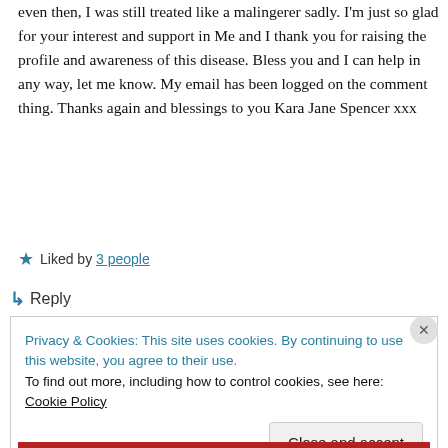even then, I was still treated like a malingerer sadly. I'm just so glad for your interest and support in Me and I thank you for raising the profile and awareness of this disease. Bless you and I can help in any way, let me know. My email has been logged on the comment thing. Thanks again and blessings to you Kara Jane Spencer xxx
★ Liked by 3 people
↪ Reply
Privacy & Cookies: This site uses cookies. By continuing to use this website, you agree to their use.
To find out more, including how to control cookies, see here: Cookie Policy

Close and accept